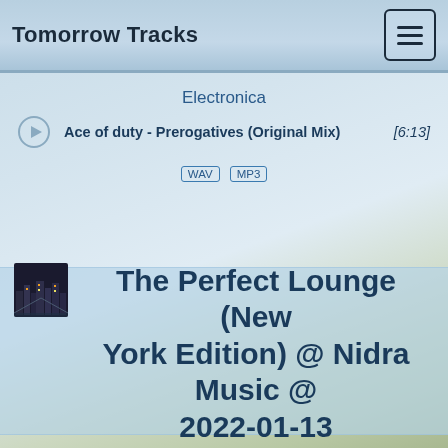Tomorrow Tracks
Electronica
Ace of duty - Prerogatives (Original Mix)  [6:13]
WAV  MP3
The Perfect Lounge (New York Edition) @ Nidra Music @ 2022-01-13
Electronica
Ace of duty - Prerogatives (Original Mix)  [6:13]
WAV  MP3